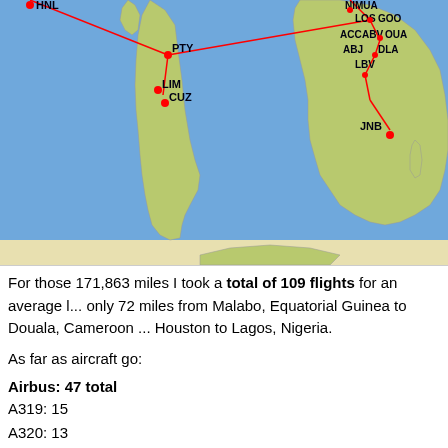[Figure (map): World map showing flight routes with red lines connecting various airport codes including HNL, PTY, LIM, CUZ, NIMUA, LOS, GOO, ACC, ABV, OUA, LBV, JNB and others. Blue oceans, tan/yellow land masses. Red dots mark airport locations.]
For those 171,863 miles I took a total of 109 flights for an average l... only 72 miles from Malabo, Equatorial Guinea to Douala, Cameroon ... Houston to Lagos, Nigeria.
As far as aircraft go:
Airbus: 47 total
A319: 15
A320: 13
A321: 5